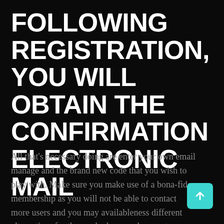FOLLOWING REGISTRATION, YOU WILL OBTAIN THE CONFIRMATION ELECTRONIC MAIL
All that's necessary doing are enter your own email manage and the brand new code that you wish to play with. Make sure you make use of a bona-fide membership as you will not be able to contact more users and you may availableness different alternatives for those who have perhaps not confirmed your bank account. Step-by-Step